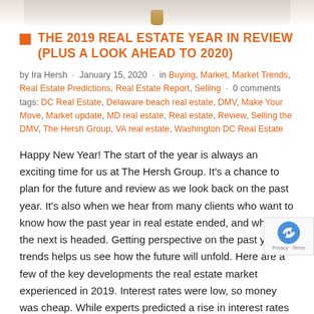[Figure (photo): Top portion of a decorative image, showing the bottom of what appears to be a glass jar or bottle with a cork stopper against a light background.]
THE 2019 REAL ESTATE YEAR IN REVIEW (PLUS A LOOK AHEAD TO 2020)
by Ira Hersh · January 15, 2020 · in Buying, Market, Market Trends, Real Estate Predictions, Real Estate Report, Selling · 0 comments tags: DC Real Estate, Delaware beach real estate, DMV, Make Your Move, Market update, MD real estate, Real estate, Review, Selling the DMV, The Hersh Group, VA real estate, Washington DC Real Estate
Happy New Year!  The start of the year is always an exciting time for us at The Hersh Group.  It's a chance to plan for the future and review as we look back on the past year.  It's also when we hear from many clients who want to know how the past year in real estate ended, and where the next is headed. Getting perspective on the past year's trends helps us see how the future will unfold.  Here are a few of the key developments the real estate market experienced in 2019. Interest rates were low, so money was cheap.  While experts predicted a rise in interest rates last year, we saw drops below 4%.  These low rates are expected to continue in the year ahead unless something changes bringing calm to the economy. Demand for housing was ample, although supply was limited.